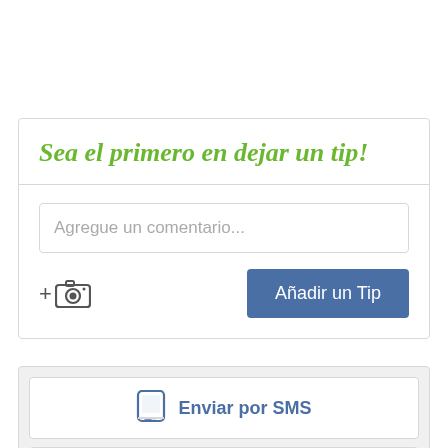Sea el primero en dejar un tip!
Agregue un comentario...
Añadir un Tip
Enviar por SMS